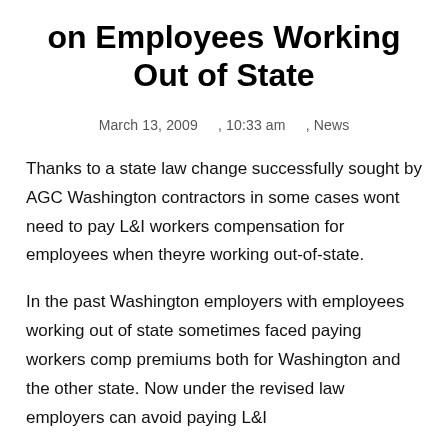on Employees Working Out of State
March 13, 2009      , 10:33 am      , News
Thanks to a state law change successfully sought by AGC Washington contractors in some cases wont need to pay L&I workers compensation for employees when theyre working out-of-state.
In the past Washington employers with employees working out of state sometimes faced paying workers comp premiums both for Washington and the other state. Now under the revised law employers can avoid paying L&I